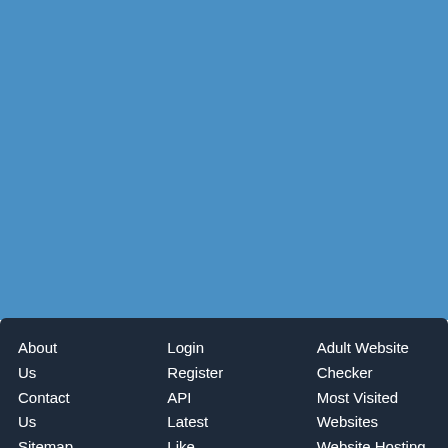[Figure (other): Solid blue background area filling the upper portion of the page]
About Us
Contact Us
Sitemap
Login
Register
API
Latest
Like
Adult Website Checker
Most Visited Websites
Website Hosting